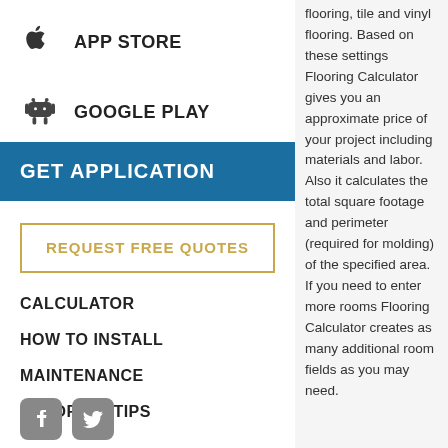APP STORE
GOOGLE PLAY
GET APPLICATION
REQUEST FREE QUOTES
CALCULATOR
HOW TO INSTALL
MAINTENANCE
FLOORING TIPS
flooring, tile and vinyl flooring. Based on these settings Flooring Calculator gives you an approximate price of your project including materials and labor. Also it calculates the total square footage and perimeter (required for molding) of the specified area. If you need to enter more rooms Flooring Calculator creates as many additional room fields as you may need.